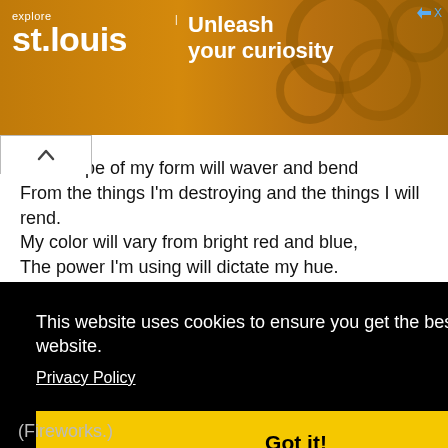[Figure (illustration): Advertisement banner for Explore St. Louis with golden gear background. Text reads 'explore st.louis | Unleash your curiosity' with a close button (arrow and X) in the top right.]
The shape of my form will waver and bend
From the things I'm destroying and the things I will rend.
My color will vary from bright red and blue,
The power I'm using will dictate my hue.
What am I?
(A flame.)
This website uses cookies to ensure you get the best experience on our website.
Privacy Policy
Got it!
(Fireworks.)